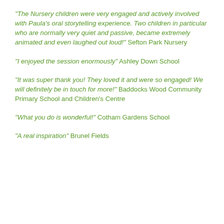"The Nursery children were very engaged and actively involved with Paula’s oral storytelling experience. Two children in particular who are normally very quiet and passive, became extremely animated and even laughed out loud!" Sefton Park Nursery
"I enjoyed the session enormously" Ashley Down School
"It was super thank you! They loved it and were so engaged! We will definitely be in touch for more!" Baddocks Wood Community Primary School and Children’s Centre
"What you do is wonderful!" Cotham Gardens School
"A real inspiration" Brunel Fields